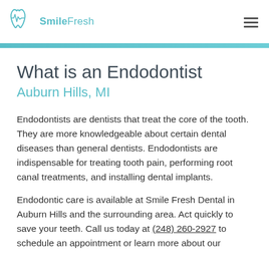SmileFresh
What is an Endodontist
Auburn Hills, MI
Endodontists are dentists that treat the core of the tooth. They are more knowledgeable about certain dental diseases than general dentists. Endodontists are indispensable for treating tooth pain, performing root canal treatments, and installing dental implants.
Endodontic care is available at Smile Fresh Dental in Auburn Hills and the surrounding area. Act quickly to save your teeth. Call us today at (248) 260-2927 to schedule an appointment or learn more about our